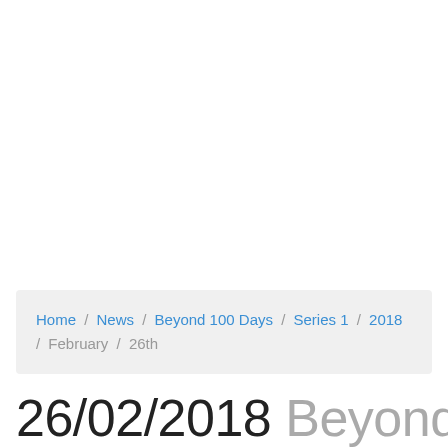Home / News / Beyond 100 Days / Series 1 / 2018 / February / 26th
26/02/2018 Beyond 100